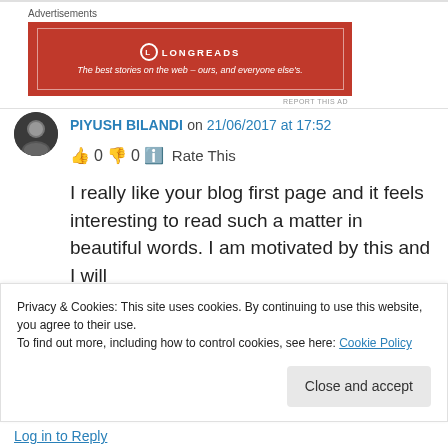[Figure (other): Advertisement banner for Longreads: red background with white border, Longreads logo and tagline 'The best stories on the web – ours, and everyone else's.']
PIYUSH BILANDI on 21/06/2017 at 17:52
👍 0 👎 0 ℹ Rate This
I really like your blog first page and it feels interesting to read such a matter in beautiful words. I am motivated by this and I will
Privacy & Cookies: This site uses cookies. By continuing to use this website, you agree to their use.
To find out more, including how to control cookies, see here: Cookie Policy
Close and accept
Log in to Reply